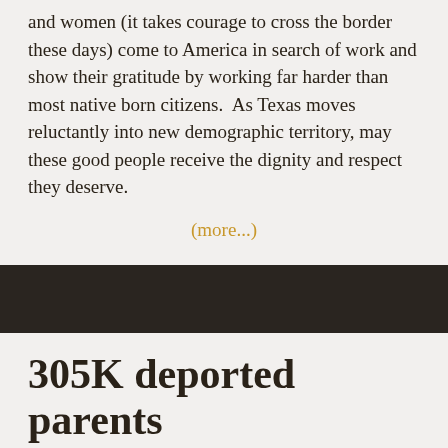and women (it takes courage to cross the border these days) come to America in search of work and show their gratitude by working far harder than most native born citizens.  As Texas moves reluctantly into new demographic territory, may these good people receive the dignity and respect they deserve.
(more...)
305K deported parents